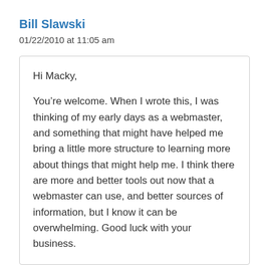Bill Slawski
01/22/2010 at 11:05 am
Hi Macky,

You’re welcome. When I wrote this, I was thinking of my early days as a webmaster, and something that might have helped me bring a little more structure to learning more about things that might help me. I think there are more and better tools out now that a webmaster can use, and better sources of information, but I know it can be overwhelming. Good luck with your business.